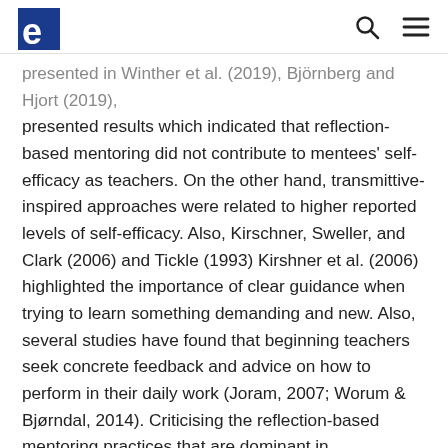[Logo] [Search icon] [Menu icon]
presented in Winther et al. (2019), Björnberg and Hjort (2019) presented results which indicated that reflection-based mentoring did not contribute to mentees' self-efficacy as teachers. On the other hand, transmittive-inspired approaches were related to higher reported levels of self-efficacy. Also, Kirschner, Sweller, and Clark (2006) and Tickle (1993) Kirshner et al. (2006) highlighted the importance of clear guidance when trying to learn something demanding and new. Also, several studies have found that beginning teachers seek concrete feedback and advice on how to perform in their daily work (Joram, 2007; Worum & Bjørndal, 2014). Criticising the reflection-based mentoring practices that are dominant in Scandinavia, Skagen (2013) argued that following such ideas takes the focus away from the skills teachers need. We find that effort is associated with support for reflection, while self-efficacy is moderately related to clear mentoring and more weakly associated with reflection-based